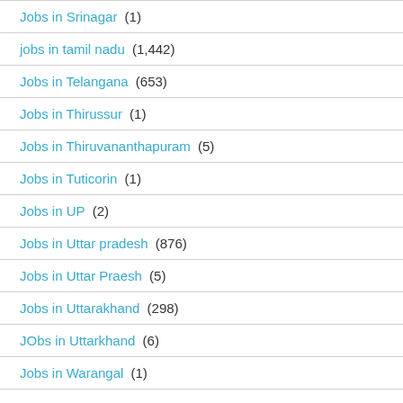Jobs in Srinagar (1)
jobs in tamil nadu (1,442)
Jobs in Telangana (653)
Jobs in Thirussur (1)
Jobs in Thiruvananthapuram (5)
Jobs in Tuticorin (1)
Jobs in UP (2)
Jobs in Uttar pradesh (876)
Jobs in Uttar Praesh (5)
Jobs in Uttarakhand (298)
JObs in Uttarkhand (6)
Jobs in Warangal (1)